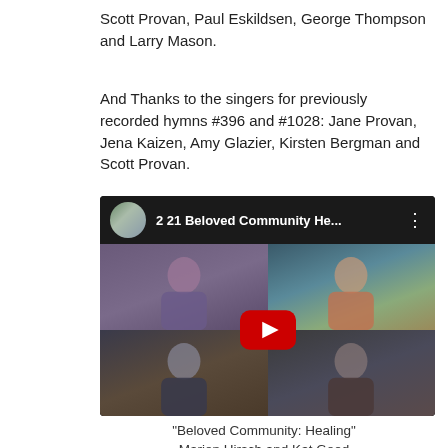Scott Provan, Paul Eskildsen, George Thompson and Larry Mason.
And Thanks to the singers for previously recorded hymns #396 and #1028: Jane Provan, Jena Kaizen, Amy Glazier, Kirsten Bergman and Scott Provan.
[Figure (screenshot): YouTube video thumbnail showing four people in a video call grid. Title reads '2 21 Beloved Community He...' with a YouTube play button overlay in the center.]
"Beloved Community: Healing"
Marion Hirsch and Kat Good